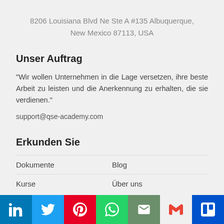8206 Louisiana Blvd Ne Ste A #135 Albuquerque, New Mexico 87113, USA
Unser Auftrag
"Wir wollen Unternehmen in die Lage versetzen, ihre beste Arbeit zu leisten und die Anerkennung zu erhalten, die sie verdienen."
support@qse-academy.com
Erkunden Sie
Dokumente
Blog
Kurse
Über uns
[Figure (infographic): Social media share bar with icons: LinkedIn (blue), Twitter (light blue), Pinterest (red), WhatsApp (green), Email (olive green), Gmail (white/red M), Trello (dark blue)]